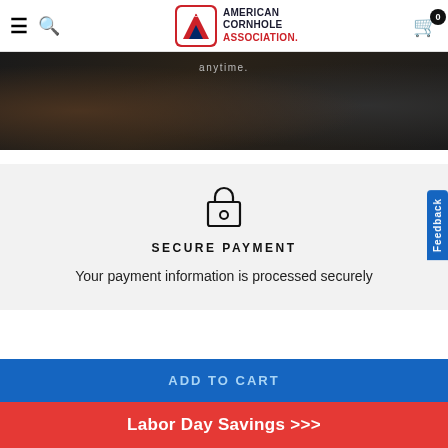American Cornhole Association — navigation bar with logo, menu, search, cart
[Figure (photo): Dark hero/banner image with faint text 'anytime.' and background showing a person standing near a car wheel]
[Figure (illustration): Lock icon representing secure payment]
SECURE PAYMENT
Your payment information is processed securely
ADD TO CART
Labor Day Savings >>>